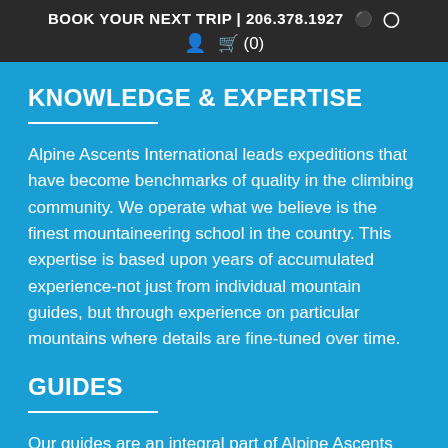BOOK YOUR NEXT TRIP | 206.378.1927  (0)
KNOWLEDGE & EXPERTISE
Alpine Ascents International leads expeditions that have become benchmarks of quality in the climbing community. We operate what we believe is the finest mountaineering school in the country. This expertise is based upon years of accumulated experience-not just from individual mountain guides, but through experience on particular mountains where details are fine-tuned over time.
GUIDES
Our guides are an integral part of Alpine Ascents because they understand and share our climbing principles. These individuals are dedicated to sharing